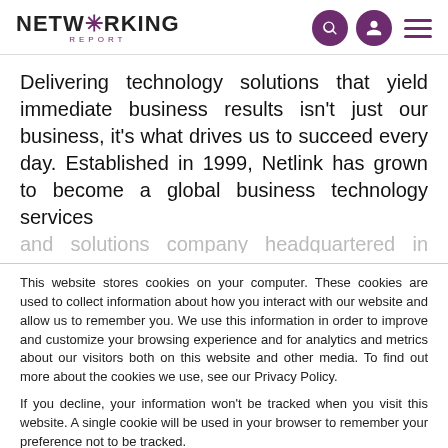NETWORKING REPORT
Delivering technology solutions that yield immediate business results isn't just our business, it's what drives us to succeed every day. Established in 1999, Netlink has grown to become a global business technology services and solutions company headquartered in Michigan, Detroit
This website stores cookies on your computer. These cookies are used to collect information about how you interact with our website and allow us to remember you. We use this information in order to improve and customize your browsing experience and for analytics and metrics about our visitors both on this website and other media. To find out more about the cookies we use, see our Privacy Policy.
If you decline, your information won't be tracked when you visit this website. A single cookie will be used in your browser to remember your preference not to be tracked.
Accept  Decline